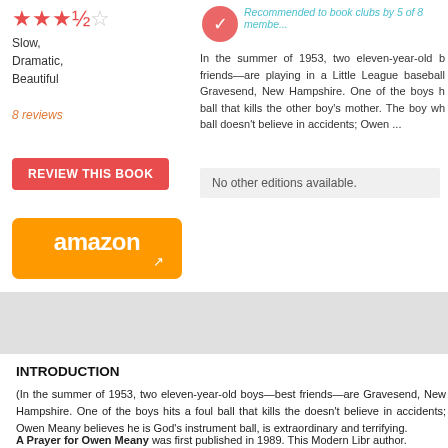[Figure (other): Star rating: 3.5 out of 5 stars (red/orange stars with one empty)]
Slow,
Dramatic,
Beautiful
8 reviews
[Figure (other): Circular badge icon for book club recommendation]
Recommended to book clubs by 5 of 8 members.
In the summer of 1953, two eleven-year-old be friends—are playing in a Little League baseball Gravesend, New Hampshire. One of the boys h ball that kills the other boy's mother. The boy wh ball doesn't believe in accidents; Owen ...
[Figure (other): Red button labeled REVIEW THIS BOOK]
No other editions available.
[Figure (other): Amazon orange button with arrow logo]
INTRODUCTION
(In the summer of 1953, two eleven-year-old boys—best friends—are Gravesend, New Hampshire. One of the boys hits a foul ball that kills the doesn't believe in accidents; Owen Meany believes he is God's instrument ball, is extraordinary and terrifying.
A Prayer for Owen Meany was first published in 1989. This Modern Libr author.